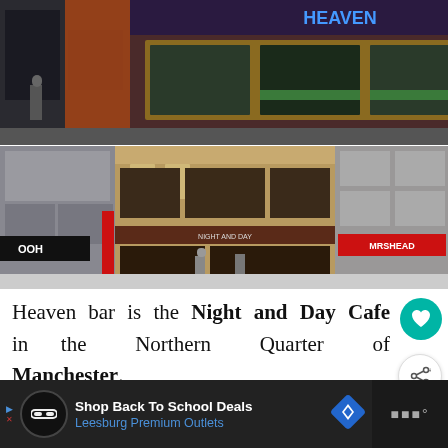[Figure (photo): Top photo: Street-level view of Heaven bar, a multi-story building with large gold-framed windows, 'HEAVEN' sign in blue letters at the top, various posters in windows, pedestrians on the sidewalk]
[Figure (photo): Bottom photo: Street-level view of Night and Day Cafe in Northern Quarter Manchester, ornate Victorian-style building facade with columns, outdoor seating area with red chairs, pedestrians on the street, neighboring shops visible]
Heaven bar is the Night and Day Cafe in the Northern Quarter of Manchester.
Shop Back To School Deals Leesburg Premium Outlets